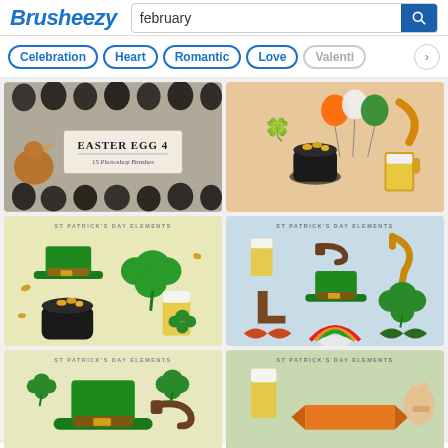Brusheezy — search: february
Celebration
Heart
Romantic
Love
Valenti…
[Figure (photo): Easter Egg 4 — 15 Photoshop Brushes thumbnail showing dark eggs and a hen on grey background]
[Figure (illustration): St Patrick's Day elements: pot of gold, balloons, horseshoe, beer mug, clovers on beige background]
[Figure (illustration): St Patrick's Day Elements: green hat, clover, pot of gold, beer glass on yellow-green background]
[Figure (illustration): St Patrick's Day Elements: beer glass, pipe, horseshoe, boot, leprechaun hat, clover, moustache, rainbow on light blue background]
[Figure (illustration): St Patrick's Day Elements: green hat, pipe, clovers on yellow background (partially visible)]
[Figure (illustration): St Patrick's Day Elements: beer glass, ribbon banner, hand gesture on green background (partially visible)]